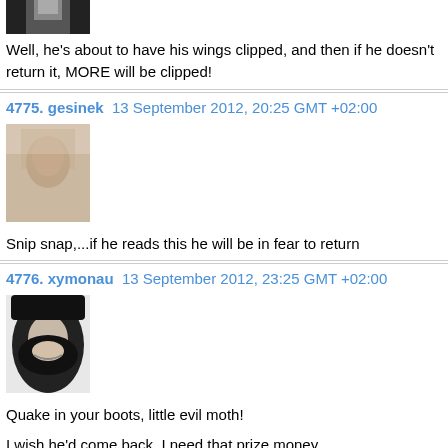[Figure (photo): Top portion of a user avatar photo, partially cropped, showing dark hair and face]
Well, he's about to have his wings clipped, and then if he doesn't return it, MORE will be clipped!
4775. gesinek 13 September 2012, 20:25 GMT +02:00
[Figure (photo): User avatar for gesinek, blurry face photo with warm tones]
Snip snap,...if he reads this he will be in fear to return
4776. xymonau 13 September 2012, 23:25 GMT +02:00
[Figure (photo): User avatar for xymonau, black and white photo of smiling woman with dark hair]
Quake in your boots, little evil moth!
I wish he'd come back. I need that prize money.